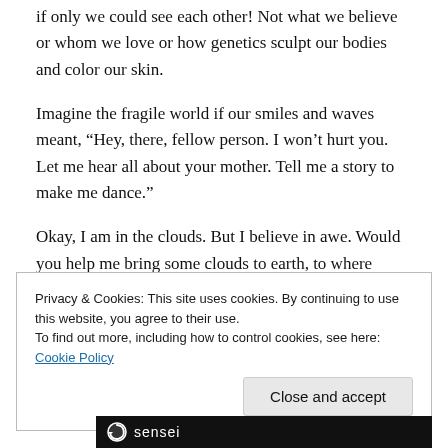if only we could see each other! Not what we believe or whom we love or how genetics sculpt our bodies and color our skin.
Imagine the fragile world if our smiles and waves meant, “Hey, there, fellow person. I won’t hurt you. Let me hear all about your mother. Tell me a story to make me dance.”
Okay, I am in the clouds. But I believe in awe. Would you help me bring some clouds to earth, to where we’re standing?
Privacy & Cookies: This site uses cookies. By continuing to use this website, you agree to their use.
To find out more, including how to control cookies, see here: Cookie Policy
Close and accept
[Figure (logo): Sensei logo: circular arrow icon with 'sensei' text on dark background bar]